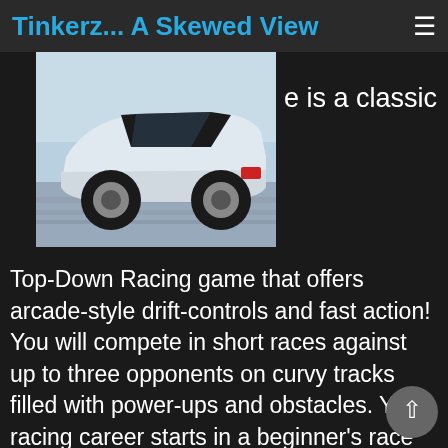Tinkerz... A Skewed View
[Figure (photo): A white sports car photographed from the side/rear at an angle, with motion blur in the background suggesting speed. The car appears to be a sleek coupe.]
e is a classic Top-Down Racing game that offers arcade-style drift-controls and fast action! You will compete in short races against up to three opponents on curvy tracks filled with power-ups and obstacles. Your racing career starts in a beginner's race of the Bronze League in a sports car that comes straight from the car dealer. Once you got familiar with the steering and won your first races you will be able to spend some of your prize money to upgrade your car and to enter more difficult races that require higher entry fees but also get you a lot more prize money! Complete all races of a league to qualify for a higher league. Replace your street-legal drifter with a faster race car or save up to